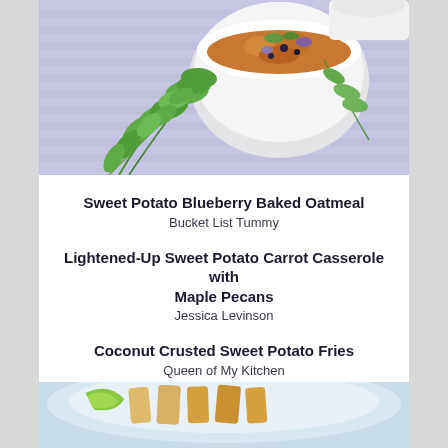[Figure (photo): A white bowl filled with sweet potato blueberry baked oatmeal with fresh cilantro and herbs on a purple striped cloth background]
Sweet Potato Blueberry Baked Oatmeal
Bucket List Tummy
Lightened-Up Sweet Potato Carrot Casserole with Maple Pecans
Jessica Levinson
Coconut Crusted Sweet Potato Fries
Queen of My Kitchen
[Figure (photo): A plate with coconut crusted sweet potato fries, partially visible at bottom of page]